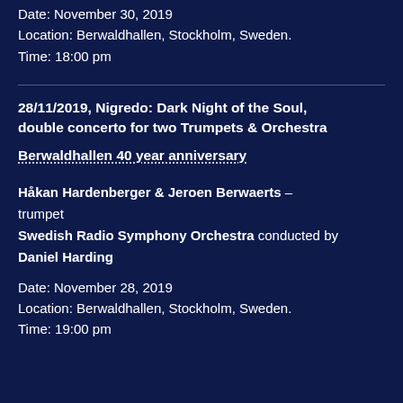Date: November 30, 2019
Location: Berwaldhallen, Stockholm, Sweden.
Time: 18:00 pm
28/11/2019, Nigredo: Dark Night of the Soul, double concerto for two Trumpets & Orchestra
Berwaldhallen 40 year anniversary
Håkan Hardenberger & Jeroen Berwaerts – trumpet
Swedish Radio Symphony Orchestra conducted by Daniel Harding
Date: November 28, 2019
Location: Berwaldhallen, Stockholm, Sweden.
Time: 19:00 pm